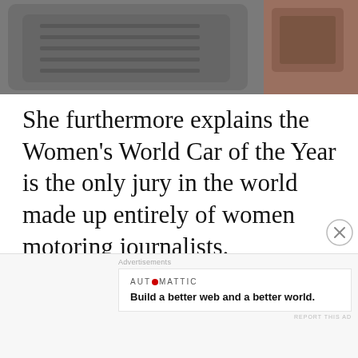[Figure (photo): Close-up photo of dark grey car interior seat cushions/upholstery]
She furthermore explains the Women’s World Car of the Year is the only jury in the world made up entirely of women motoring journalists.
Advertisements
[Figure (other): Longreads advertisement banner: red background with Longreads logo and tagline ‘The best stories on the web – ours, and everyone else’s.’]
“This gives it enormous value because its
Advertisements
[Figure (other): Automattic advertisement: white background with Automattic logo and tagline ‘Build a better web and a better world.’]